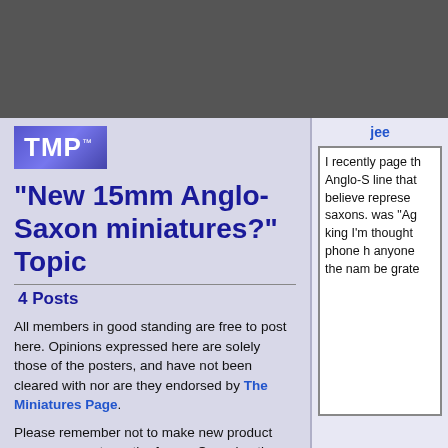[Figure (other): Dark gray header bar at top of page]
[Figure (logo): TMP logo with blue/purple gradient background, white text reading TMP with trademark symbol]
"New 15mm Anglo-Saxon miniatures?" Topic
4 Posts
All members in good standing are free to post here. Opinions expressed here are solely those of the posters, and have not been cleared with nor are they endorsed by The Miniatures Page.
Please remember not to make new product announcements on the forum. Our advertisers pay for
jee
I recently page th Anglo-S line that believe represe saxons. was "Ag king I'm thought phone h anyone the nam be grate